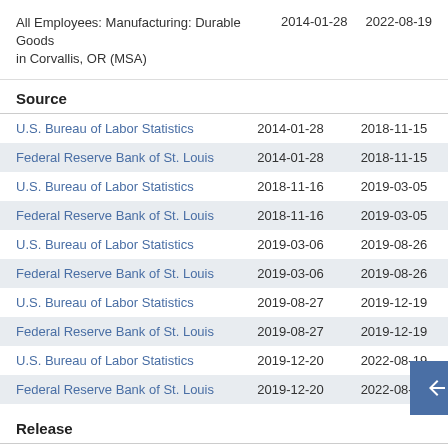All Employees: Manufacturing: Durable Goods in Corvallis, OR (MSA)   2014-01-28   2022-08-19
Source
| Source | Start | End |
| --- | --- | --- |
| U.S. Bureau of Labor Statistics | 2014-01-28 | 2018-11-15 |
| Federal Reserve Bank of St. Louis | 2014-01-28 | 2018-11-15 |
| U.S. Bureau of Labor Statistics | 2018-11-16 | 2019-03-05 |
| Federal Reserve Bank of St. Louis | 2018-11-16 | 2019-03-05 |
| U.S. Bureau of Labor Statistics | 2019-03-06 | 2019-08-26 |
| Federal Reserve Bank of St. Louis | 2019-03-06 | 2019-08-26 |
| U.S. Bureau of Labor Statistics | 2019-08-27 | 2019-12-19 |
| Federal Reserve Bank of St. Louis | 2019-08-27 | 2019-12-19 |
| U.S. Bureau of Labor Statistics | 2019-12-20 | 2022-08-19 |
| Federal Reserve Bank of St. Louis | 2019-12-20 | 2022-08-19 |
Release
| Release | Start | End |
| --- | --- | --- |
| State and Metro Area Employment, Hours, an | 2014-01-28 | 2022-08-19 |